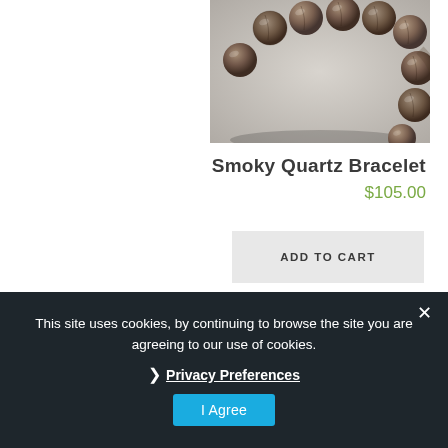[Figure (photo): Close-up photograph of smoky quartz bracelet beads arranged in a partial circle on a light gray background]
Smoky Quartz Bracelet
$105.00
ADD TO CART
This site uses cookies, by continuing to browse the site you are agreeing to our use of cookies.
Privacy Preferences
I Agree